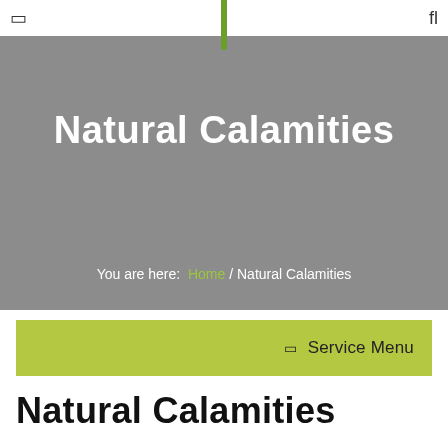☰ | fl
Natural Calamities
You are here: Home / Natural Calamities
☰ Service Menu
Natural Calamities